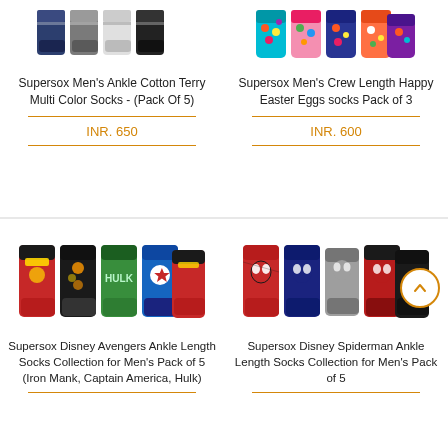[Figure (photo): Supersox Men's Ankle Cotton Terry Multi Color Socks - product image showing multiple folded socks in dark/grey/white colors]
Supersox Men's Ankle Cotton Terry Multi Color Socks - (Pack Of 5)
INR. 650
[Figure (photo): Supersox Men's Crew Length Happy Easter Eggs socks - product image showing colorful patterned socks]
Supersox Men's Crew Length Happy Easter Eggs socks Pack of 3
INR. 600
[Figure (photo): Supersox Disney Avengers Ankle Length Socks - showing Iron Man, Captain America, Hulk themed socks in red, black, green]
Supersox Disney Avengers Ankle Length Socks Collection for Men's Pack of 5 (Iron Mank, Captain America, Hulk)
[Figure (photo): Supersox Disney Spiderman Ankle Length Socks - showing red and navy Spiderman themed socks]
Supersox Disney Spiderman Ankle Length Socks Collection for Men's Pack of 5